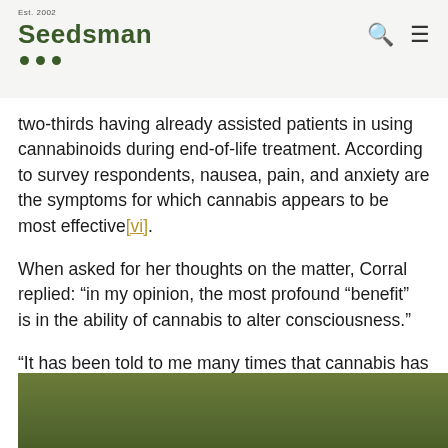Est. 2002 Seedsman
two-thirds having already assisted patients in using cannabinoids during end-of-life treatment. According to survey respondents, nausea, pain, and anxiety are the symptoms for which cannabis appears to be most effective[vi].
When asked for her thoughts on the matter, Corral replied: “in my opinion, the most profound “benefit”  is in the ability of cannabis to alter consciousness.”
“It has been told to me many times that cannabis has opened a portal to accepting death and that it kicked open the door to what lay beyond.”
[Figure (photo): Green/olive colored image, partially visible at the bottom of the page]